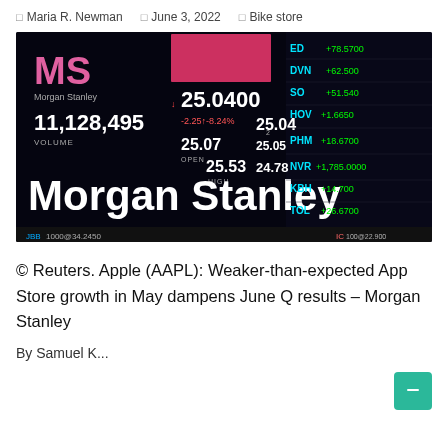Maria R. Newman  |  June 3, 2022  |  Bike store
[Figure (photo): Morgan Stanley stock ticker display board showing MS stock price at 25.0400, down 2.254-8.24%, volume 11,128,495, with other stock tickers visible on the right side of the board.]
© Reuters. Apple (AAPL): Weaker-than-expected App Store growth in May dampens June Q results – Morgan Stanley
By Samuel K...